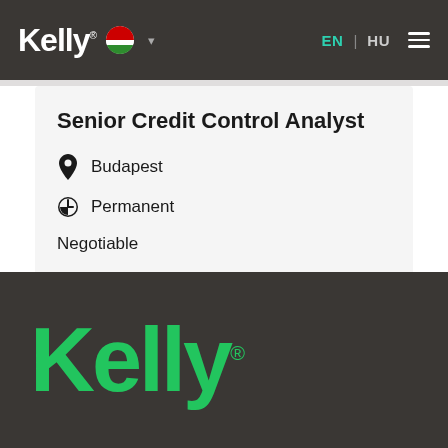Kelly EN HU
Senior Credit Control Analyst
Budapest
Permanent
Negotiable
[Figure (logo): Kelly green logo on dark background in footer]